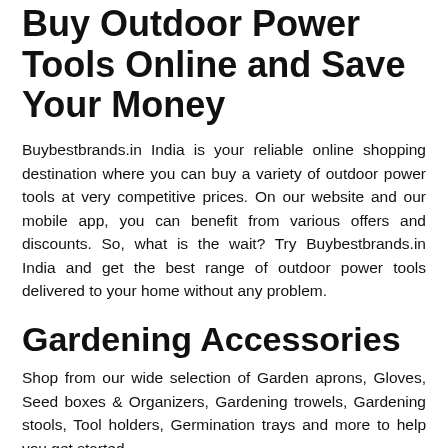Buy Outdoor Power Tools Online and Save Your Money
Buybestbrands.in India is your reliable online shopping destination where you can buy a variety of outdoor power tools at very competitive prices. On our website and our mobile app, you can benefit from various offers and discounts. So, what is the wait? Try Buybestbrands.in India and get the best range of outdoor power tools delivered to your home without any problem.
Gardening Accessories
Shop from our wide selection of Garden aprons, Gloves, Seed boxes & Organizers, Gardening trowels, Gardening stools, Tool holders, Germination trays and more to help you get started.
Buy Mosquito Nets Online
We can not even count the number of times our sleep has been